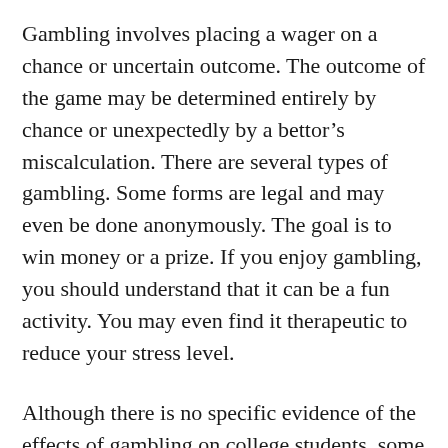Gambling involves placing a wager on a chance or uncertain outcome. The outcome of the game may be determined entirely by chance or unexpectedly by a bettor's miscalculation. There are several types of gambling. Some forms are legal and may even be done anonymously. The goal is to win money or a prize. If you enjoy gambling, you should understand that it can be a fun activity. You may even find it therapeutic to reduce your stress level.
Although there is no specific evidence of the effects of gambling on college students, some studies indicate that these young people are at higher risk of problem gambling. The prevalence of problem gambling among college students is higher than among adults, and it is